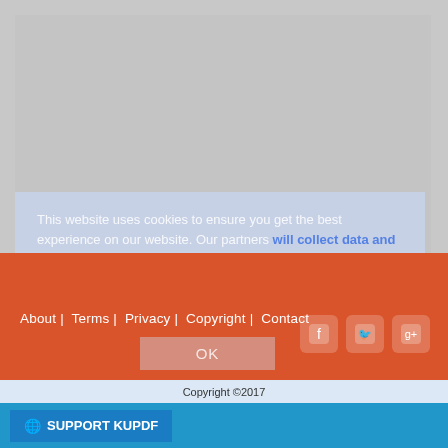[Figure (screenshot): Gray placeholder area for main website content]
This website uses cookies to ensure you get the best experience on our website. Our partners will collect data and use cookies for ad personalization and measurement.
Learn how we and our partners collect and use data.
About | Terms | Privacy | Copyright | Contact
OK
Copyright ©2017  SUPPORT KUPDF